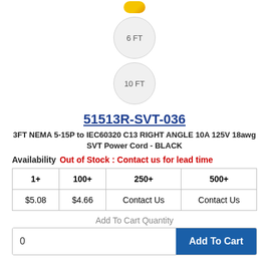[Figure (other): Yellow/orange icon at top (partially visible)]
6 FT
10 FT
51513R-SVT-036
3FT NEMA 5-15P to IEC60320 C13 RIGHT ANGLE 10A 125V 18awg SVT Power Cord - BLACK
Availability   Out of Stock : Contact us for lead time
| 1+ | 100+ | 250+ | 500+ |
| --- | --- | --- | --- |
| $5.08 | $4.66 | Contact Us | Contact Us |
Add To Cart Quantity
0